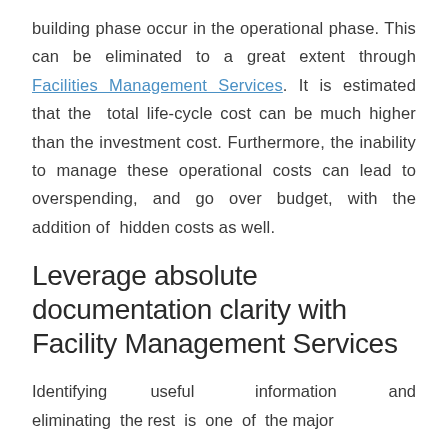building phase occur in the operational phase. This can be eliminated to a great extent through Facilities Management Services. It is estimated that the total life-cycle cost can be much higher than the investment cost. Furthermore, the inability to manage these operational costs can lead to overspending, and go over budget, with the addition of hidden costs as well.
Leverage absolute documentation clarity with Facility Management Services
Identifying useful information and eliminating the rest is one of the major